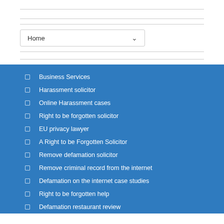[Figure (screenshot): Dropdown navigation element showing 'Home' with a chevron arrow]
Business Services
Harassment solicitor
Online Harassment cases
Right to be forgotten solicitor
EU privacy lawyer
A Right to be Forgotten Solicitor
Remove defamation solicitor
Remove criminal record from the internet
Defamation on the internet case studies
Right to be forgotten help
Defamation restaurant review